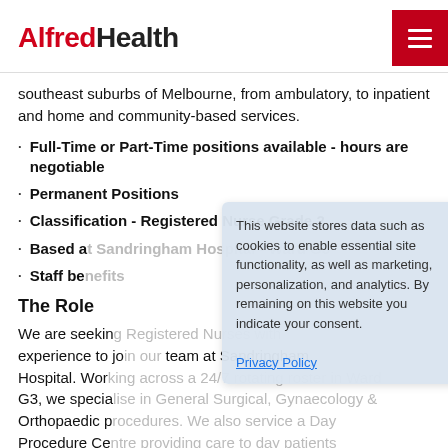AlfredHealth
southeast suburbs of Melbourne, from ambulatory, to inpatient and home and community-based services.
Full-Time or Part-Time positions available - hours are negotiable
Permanent Positions
Classification - Registered Nurse Grade 2
Based at Sandringham Hospital - Ward G3
Staff benefits
The Role
We are seeking Registered Nurses with experience to join our team at Sandringham Hospital. Working across a 24/7 rotating roster in Ward G3, we specialise in General Surgical, Gynaecology & Orthopaedic procedures. We also service a Day Procedure Centre providing care to day patients undergoing ophthalmology, general surgical
This website stores data such as cookies to enable essential site functionality, as well as marketing, personalization, and analytics. By remaining on this website you indicate your consent.
Privacy Policy